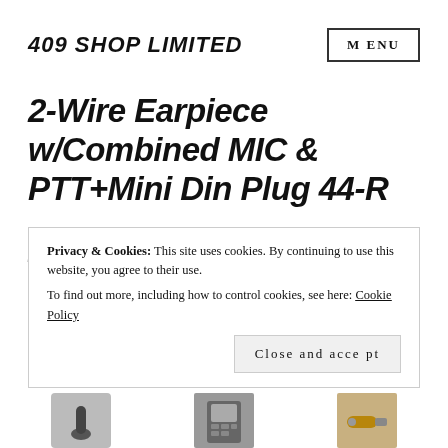409 SHOP LIMITED
MENU
2-Wire Earpiece w/Combined MIC & PTT+Mini Din Plug 44-R
£012.44 R
Privacy & Cookies: This site uses cookies. By continuing to use this website, you agree to their use.
To find out more, including how to control cookies, see here: Cookie Policy
Close and accept
[Figure (photo): Product images of earpiece, radio device, and connector plug partially visible at bottom of page]